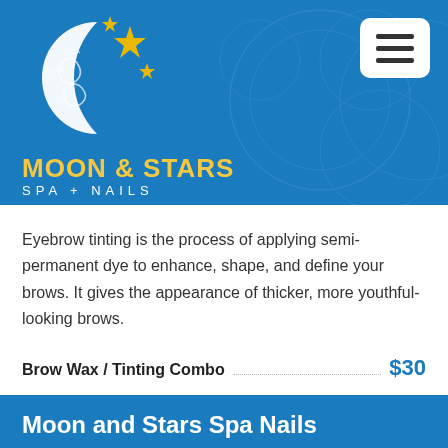[Figure (logo): Moon and Stars Spa + Nails logo: crescent moon with decorative swirls and gold stars, yellow brand name text]
Eyebrow tinting is the process of applying semi-permanent dye to enhance, shape, and define your brows. It gives the appearance of thicker, more youthful-looking brows.
Brow Wax / Tinting Combo $30
Moon and Stars Spa Nails
Our team continually strives to create a luxurious pampering experience for you with each visit. Please let us